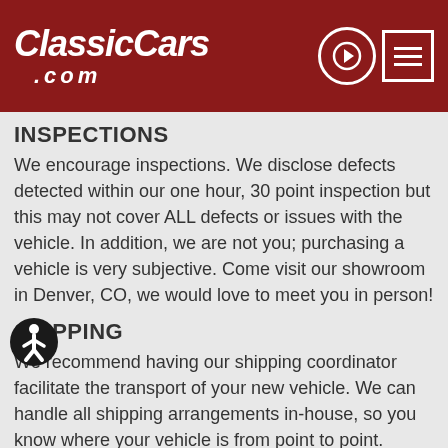ClassicCars.com
INSPECTIONS
We encourage inspections. We disclose defects detected within our one hour, 30 point inspection but this may not cover ALL defects or issues with the vehicle. In addition, we are not you; purchasing a vehicle is very subjective. Come visit our showroom in Denver, CO, we would love to meet you in person!
SHIPPING
We recommend having our shipping coordinator facilitate the transport of your new vehicle. We can handle all shipping arrangements in-house, so you know where your vehicle is from point to point. We highly suggest using only enclosed shipping to protect your investment. We use Central Dispatch and they ensure all carriers are licensed, insured and bonded. Please be advised that it is not uncommon for a